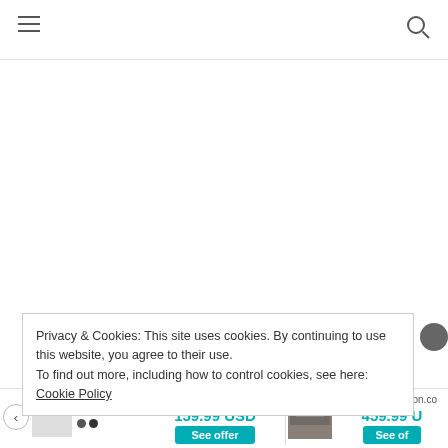Navigation bar with hamburger menu and search icon
Privacy & Cookies: This site uses cookies. By continuing to use this website, you agree to their use.
To find out more, including how to control cookies, see here: Cookie Policy
[Figure (screenshot): Two Groupon advertisement banners at the bottom: left shows 159.99 USD with See offer button, right shows 459.99 USD with See offer button (partially visible)]
www.groupon.com  159.99 USD  See offer  |  www.groupon.com  459.99 U...  See of...